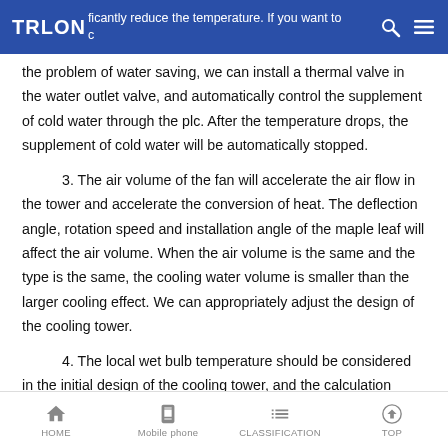TRLON — significantly reduce the temperature. If you want to consider the problem of water saving, we can install a thermal valve in the water outlet valve, and automatically control the supplement of cold water through the plc.
the problem of water saving, we can install a thermal valve in the water outlet valve, and automatically control the supplement of cold water through the plc. After the temperature drops, the supplement of cold water will be automatically stopped.
3. The air volume of the fan will accelerate the air flow in the tower and accelerate the conversion of heat. The deflection angle, rotation speed and installation angle of the maple leaf will affect the air volume. When the air volume is the same and the type is the same, the cooling water volume is smaller than the larger cooling effect. We can appropriately adjust the design of the cooling tower.
4. The local wet bulb temperature should be considered in the initial design of the cooling tower, and the calculation should be
HOME   Mobile phone   CLASSIFICATION   TOP